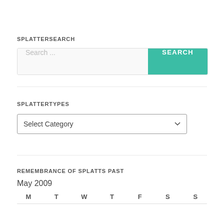SPLATTERSEARCH
[Figure (screenshot): Search bar with text 'Search ...' and teal SEARCH button]
SPLATTERTYPES
[Figure (screenshot): Dropdown selector showing 'Select Category']
REMEMBRANCE OF SPLATTS PAST
May 2009
| M | T | W | T | F | S | S |
| --- | --- | --- | --- | --- | --- | --- |